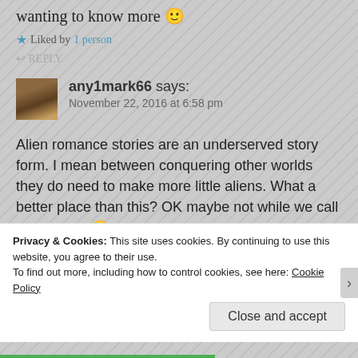wanting to know more 🙂
★ Liked by 1 person
↩ REPLY
any1mark66 says:
November 22, 2016 at 6:58 pm
Alien romance stories are an underserved story form. I mean between conquering other worlds they do need to make more little aliens. What a better place than this? OK maybe not while we call it our own . 😀
★ Like
Privacy & Cookies: This site uses cookies. By continuing to use this website, you agree to their use.
To find out more, including how to control cookies, see here: Cookie Policy
Close and accept